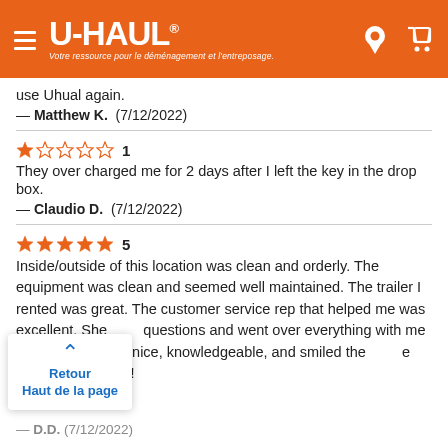U-HAUL — Votre ressource pour le déménagement et l'entreposage.
use Uhual again.
— Matthew K.  (7/12/2022)
★☆☆☆☆ 1
They over charged me for 2 days after I left the key in the drop box.
— Claudio D.  (7/12/2022)
★★★★★ 5
Inside/outside of this location was clean and orderly. The equipment was clean and seemed well maintained. The trailer I rented was great. The customer service rep that helped me was excellent. She [answered all of my] questions and went over everything with me on [the contract]. She was nice, knowledgeable, and smiled the [entire time]. [She] deserves 10 stars!
— [D.D.] (7/12/2022)